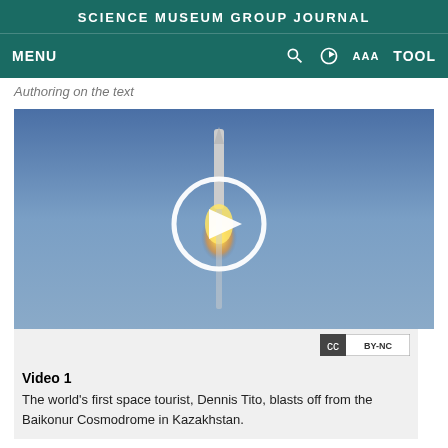SCIENCE MUSEUM GROUP JOURNAL
MENU  🔍  ◑  AAA  TOOL
Authoring on the text
[Figure (photo): Rocket launch, likely a Soyuz spacecraft, blasting off against a blue sky with a bright flame. A white circular play button overlay is centered on the image, indicating this is a video thumbnail.]
Video 1
The world's first space tourist, Dennis Tito, blasts off from the Baikonur Cosmodrome in Kazakhstan.